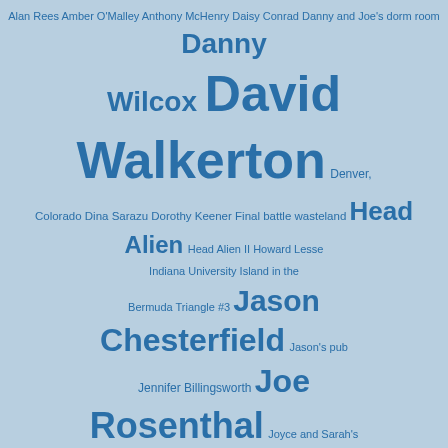[Figure (infographic): Tag cloud on light blue background with character/location names in varying sizes. Largest tags: David Walkerton, Joyce Brown, Jason Chesterfield, Joe Rosenthal, Joyce Brown, Sal Walters. Smaller tags: Alan Rees, Amber O'Malley, Anthony McHenry, Daisy Conrad, Danny and Joe's dorm room, Danny Wilcox, Denver Colorado, Dina Sarazu, Dorothy Keener, Final battle wasteland, Head Alien, Head Alien II, Howard Lesse, Indiana University, Island in the Bermuda Triangle #3, Jason's pub, Jennifer Billingsworth, Joyce and Sarah's dorm room, Joyce and Walky's apartment, Linda Walkerton, Machete Martian, Embassy Martian starship, Mary Bradford, Mike Warner, Monkey Master, Professor Doc, Professor Doc's lab, Robin DeSanto, Ruth Lesse, Ruth's house, Sal Walters, Sarah Clinton]
GottaWonder
October 26, 2013, 12:03 am | # | Repl
And that ought to cheer you up gu
Becky
October 26, 2013, 12:04 am | # | Repl
…Yaaaaaaaay. Party.
AgentKeen
October 26, 2013, 12:0
Not a party without b
xKiv
October 26, 2013,
They can only dr
Nezumi
January 24, 20
Oh god. Is th whimsical mi silly experime
Doctor_Who